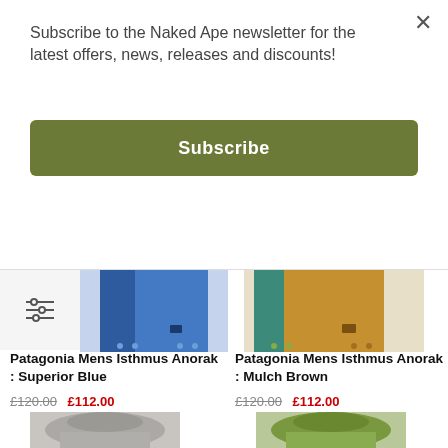Subscribe to the Naked Ape newsletter for the latest offers, news, releases and discounts!
Subscribe
[Figure (photo): Patagonia Mens Isthmus Anorak jacket in Superior Blue color, showing lower portion of jacket]
[Figure (photo): Patagonia Mens Isthmus Anorak jacket in Mulch Brown color, showing lower portion of jacket]
Patagonia Mens Isthmus Anorak : Superior Blue
£120.00 £112.00
Patagonia Mens Isthmus Anorak : Mulch Brown
£120.00 £112.00
[Figure (photo): Patagonia jacket in grey color, hooded, partially visible at bottom of page]
[Figure (photo): Patagonia jacket in green color, hooded, partially visible at bottom of page]